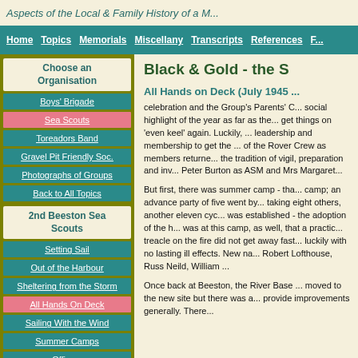Aspects of the Local & Family History of a M...
Home | Topics | Memorials | Miscellany | Transcripts | References | F...
Choose an Organisation
Boys' Brigade
Sea Scouts
Toreadors Band
Gravel Pit Friendly Soc.
Photographs of Groups
Back to All Topics
2nd Beeston Sea Scouts
Setting Sail
Out of the Harbour
Sheltering from the Storm
All Hands On Deck
Sailing With the Wind
Summer Camps
Officers
Black & Gold - the S...
All Hands on Deck (July 1945 ...)
celebration and the Group's Parents' C... social highlight of the year as far as the... get things on 'even keel' again. Luckily, ... leadership and membership to get the ... of the Rover Crew as members returne... the tradition of vigil, preparation and inv... Peter Burton as ASM and Mrs Margaret...
But first, there was summer camp - tha... camp; an advance party of five went by... taking eight others, another eleven cyc... was established - the adoption of the h... was at this camp, as well, that a practic... treacle on the fire did not get away fast... luckily with no lasting ill effects. New na... Robert Lofthouse, Russ Neild, William ...
Once back at Beeston, the River Base ... moved to the new site but there was a... provide improvements generally. There...